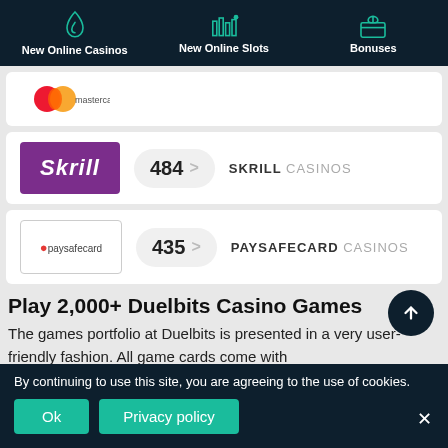New Online Casinos | New Online Slots | Bonuses
[Figure (screenshot): Mastercard logo card row (partially visible)]
[Figure (screenshot): Skrill logo with 484 > SKRILL CASINOS link]
[Figure (screenshot): Paysafecard logo with 435 > PAYSAFECARD CASINOS link]
Play 2,000+ Duelbits Casino Games
The games portfolio at Duelbits is presented in a very user-friendly fashion. All game cards come with
By continuing to use this site, you are agreeing to the use of cookies.